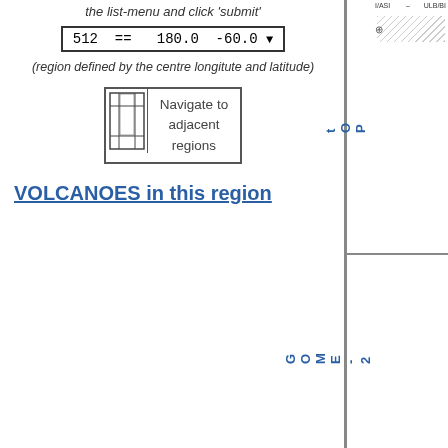the list-menu and click 'submit'
512 ==   180.0  -60.0
(region defined by the centre longitute and latitude)
[Figure (illustration): Navigation box with grid/window icon on left and text 'Navigate to adjacent regions' on right]
VOLCANOES in this region
[Figure (other): Right sidebar with vertical labels 'TOP C' and 'GOME-2', with a hatched chart area in the top section showing axis labels]